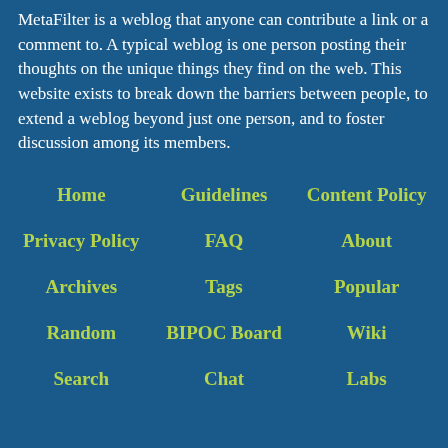MetaFilter is a weblog that anyone can contribute a link or a comment to. A typical weblog is one person posting their thoughts on the unique things they find on the web. This website exists to break down the barriers between people, to extend a weblog beyond just one person, and to foster discussion among its members.
Home
Guidelines
Content Policy
Privacy Policy
FAQ
About
Archives
Tags
Popular
Random
BIPOC Board
Wiki
Search
Chat
Labs